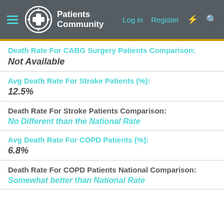Patients Community — Log in | Register
Death Rate For CABG Surgery Patients Comparison:
Not Available
Avg Death Rate For Stroke Patients (%):
12.5%
Death Rate For Stroke Patients Comparison:
No Different than the National Rate
Avg Death Rate For COPD Patients (%):
6.8%
Death Rate For COPD Patients National Comparison:
Somewhat better than National Rate